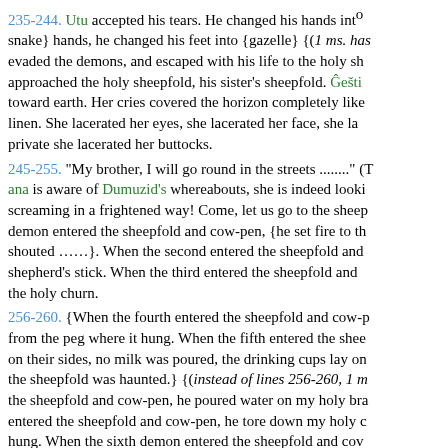235-244. Utu accepted his tears. He changed his hands into {snake} hands, he changed his feet into {gazelle} {(1 ms. has: evaded the demons, and escaped with his life to the holy sh... approached the holy sheepfold, his sister's sheepfold. Ĝešti... toward earth. Her cries covered the horizon completely like ... linen. She lacerated her eyes, she lacerated her face, she la... private she lacerated her buttocks.
245-255. "My brother, I will go round in the streets ........" (Th... ana is aware of Dumuzid's whereabouts, she is indeed looki... screaming in a frightened way! Come, let us go to the sheep... demon entered the sheepfold and cow-pen, {he set fire to th... shouted ......}. When the second entered the sheepfold and ... shepherd's stick. When the third entered the sheepfold and ... the holy churn.
256-260. {When the fourth entered the sheepfold and cow-p... from the peg where it hung. When the fifth entered the shee... on their sides, no milk was poured, the drinking cups lay on ... the sheepfold was haunted.} {(instead of lines 256-260, 1 m... the sheepfold and cow-pen, he poured water on my holy bra... entered the sheepfold and cow-pen, he tore down my holy c... hung. When the sixth demon entered the sheepfold and cow... sides, and no milk was poured. When the seventh demon e... the drinking cups lay on their sides, Dumuzid was dead, the...
261-999. A šir-kalkal for the dead Dumuzid.